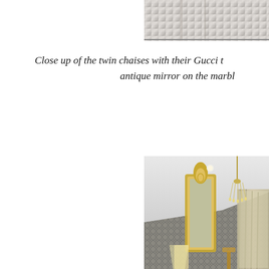[Figure (photo): Partial view of twin chaises with Gucci textile, cropped at top of page]
Close up of the twin chaises with their Gucci t... antique mirror on the marbl...
[Figure (photo): Interior room scene with decorative patterned wallpaper, ornate gold mirror, crystal chandelier, and curtained window]